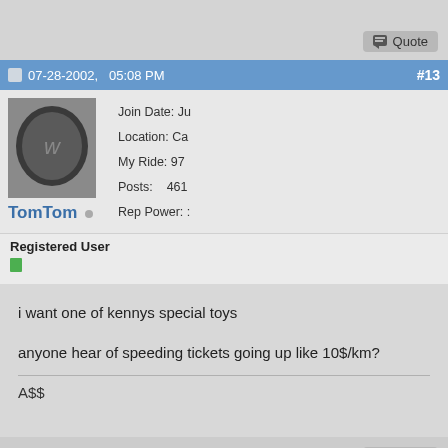[Figure (screenshot): Top gray bar with Quote button at bottom right]
07-28-2002,  05:08 PM  #13
[Figure (photo): User avatar photo showing a dark circular object]
Join Date: Ju
Location: Ca
My Ride: 97
Posts: 461
Rep Power: :
TomTom
Registered User
i want one of kennys special toys

anyone hear of speeding tickets going up like 10$/km?
A$$
Quote
07-29-2002,  12:32 AM  #14